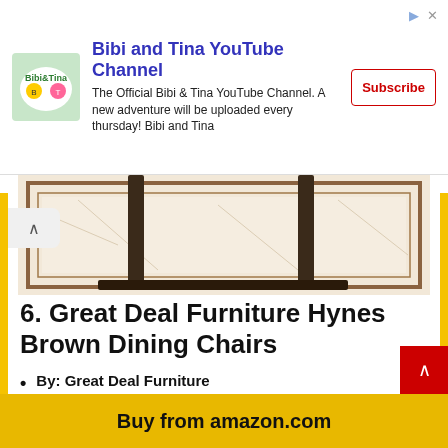[Figure (screenshot): Bibi and Tina YouTube Channel advertisement banner with logo, description text, and Subscribe button]
[Figure (photo): Photo of a brown dining table with dark legs on a marble tile floor, cropped to show table base and floor]
6. Great Deal Furniture Hynes Brown Dining Chairs
By: Great Deal Furniture
Item Weight: 54 pounds
Package Dimensions: 24 x 17.7 x 39.5 inches
Buy from amazon.com